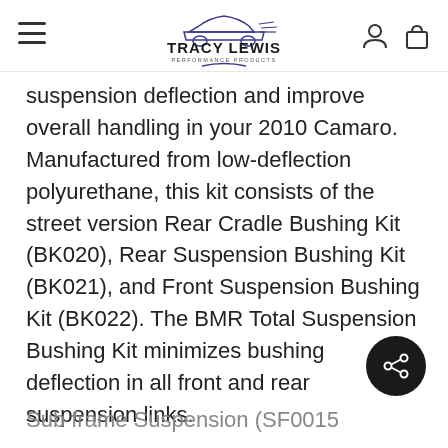Tracy Lewis Performance Products
suspension deflection and improve overall handling in your 2010 Camaro. Manufactured from low-deflection polyurethane, this kit consists of the street version Rear Cradle Bushing Kit (BK020), Rear Suspension Bushing Kit (BK021), and Front Suspension Bushing Kit (BK022). The BMR Total Suspension Bushing Kit minimizes bushing deflection in all front and rear suspension links.